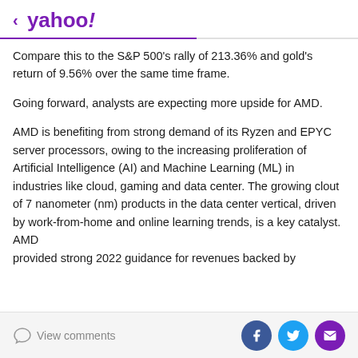< yahoo!
Compare this to the S&P 500's rally of 213.36% and gold's return of 9.56% over the same time frame.
Going forward, analysts are expecting more upside for AMD.
AMD is benefiting from strong demand of its Ryzen and EPYC server processors, owing to the increasing proliferation of Artificial Intelligence (AI) and Machine Learning (ML) in industries like cloud, gaming and data center. The growing clout of 7 nanometer (nm) products in the data center vertical, driven by work-from-home and online learning trends, is a key catalyst. AMD provided strong 2022 guidance for revenues backed by
View comments